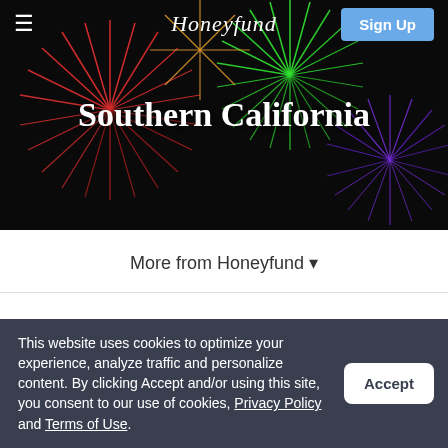[Figure (photo): Colorful fireworks display on black background - red, green, orange and blue fireworks bursting]
Honeyfund  Sign Up
Southern California
More from Honeyfund ▾
These cash-fund registry items are perfect for a
This website uses cookies to optimize your experience, analyze traffic and personalize content. By clicking Accept and/or using this site, you consent to our use of cookies, Privacy Policy and Terms of Use.